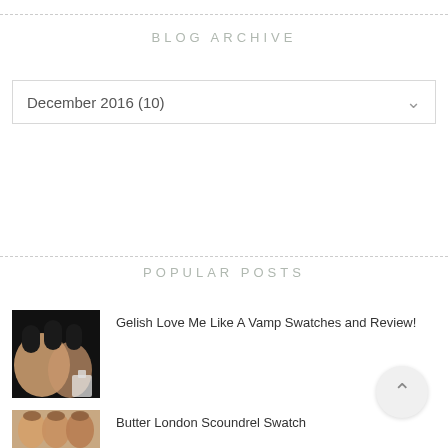BLOG ARCHIVE
December 2016 (10)
POPULAR POSTS
Gelish Love Me Like A Vamp Swatches and Review!
[Figure (photo): Thumbnail of dark/black nail polish on hand for Gelish Love Me Like A Vamp post]
Butter London Scoundrel Swatch
[Figure (photo): Thumbnail of nail swatch for Butter London Scoundrel post]